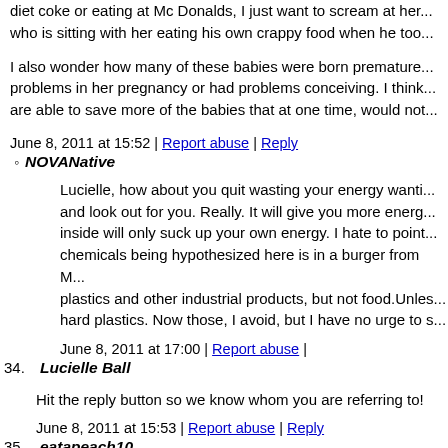diet coke or eating at Mc Donalds, I just want to scream at her... who is sitting with her eating his own crappy food when he too...
I also wonder how many of these babies were born premature... problems in her pregnancy or had problems conceiving. I think... are able to save more of the babies that at one time, would not...
June 8, 2011 at 15:52 | Report abuse | Reply
NOVANative
Lucielle, how about you quit wasting your energy wanti... and look out for you. Really. It will give you more energ... inside will only suck up your own energy. I hate to point... chemicals being hypothesized here is in a burger from M... plastics and other industrial products, but not food.Unles... hard plastics. Now those, I avoid, but I have no urge to s...
June 8, 2011 at 17:00 | Report abuse |
34. Lucielle Ball
Hit the reply button so we know whom you are referring to!
June 8, 2011 at 15:53 | Report abuse | Reply
35. eatapeach10
The sad point lost in all this is that "1 in 110 children are being...